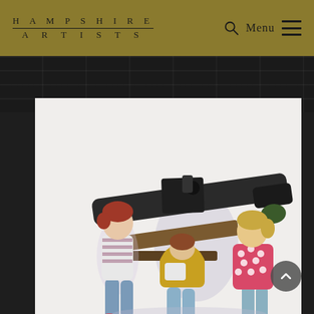HAMPSHIRE ARTISTS — Menu
[Figure (illustration): A painting showing three children examining a large black cannon or machine gun. The leftmost child has red hair and wears a blue-and-white striped shirt with blue jeans. The middle child wears a yellow jacket and blue jeans and leans over the weapon. The rightmost child wears a pink polka-dot jacket and stands beside the barrel. The setting appears to be an outdoor museum or display. Watercolour or coloured pencil style on white background.]